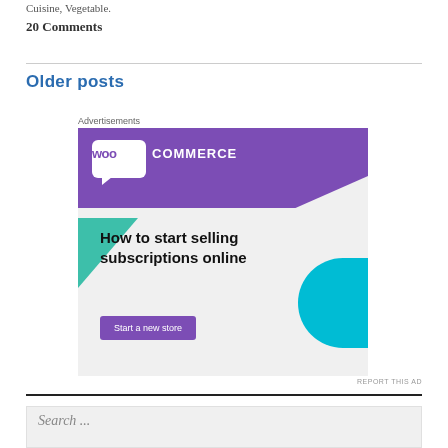Cuisine, Vegetable.
20 Comments
Older posts
Advertisements
[Figure (illustration): WooCommerce advertisement banner: purple header with WooCommerce logo, green triangle decoration, cyan blue quarter-circle, bold text 'How to start selling subscriptions online', purple 'Start a new store' button on light grey background.]
REPORT THIS AD
Search ...